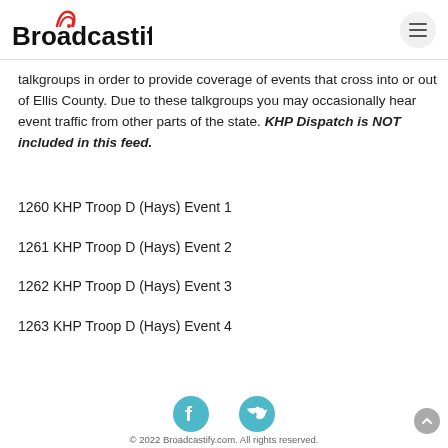Broadcastify
talkgroups in order to provide coverage of events that cross into or out of Ellis County. Due to these talkgroups you may occasionally hear event traffic from other parts of the state. KHP Dispatch is NOT included in this feed.
1260 KHP Troop D (Hays) Event 1
1261 KHP Troop D (Hays) Event 2
1262 KHP Troop D (Hays) Event 3
1263 KHP Troop D (Hays) Event 4
© 2022 Broadcastify.com. All rights reserved.